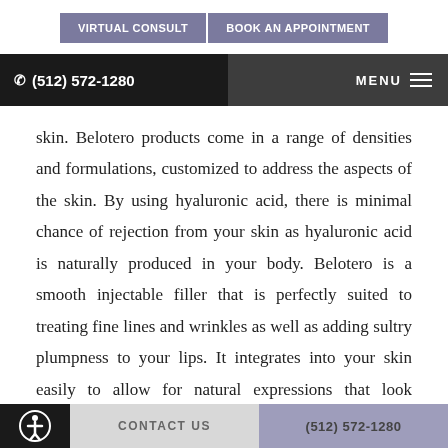VIRTUAL CONSULT  |  BOOK AN APPOINTMENT
(512) 572-1280  MENU
skin. Belotero products come in a range of densities and formulations, customized to address the aspects of the skin. By using hyaluronic acid, there is minimal chance of rejection from your skin as hyaluronic acid is naturally produced in your body. Belotero is a smooth injectable filler that is perfectly suited to treating fine lines and wrinkles as well as adding sultry plumpness to your lips. It integrates into your skin easily to allow for natural expressions that look beautiful, so that you can feel
CONTACT US  |  (512) 572-1280